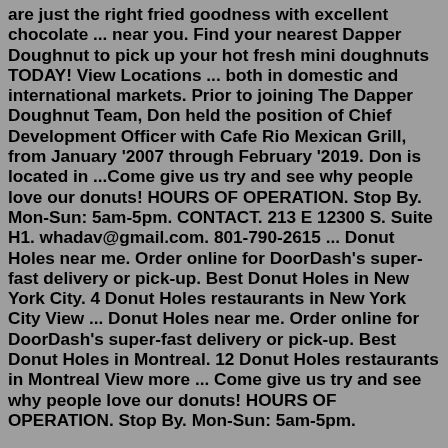are just the right fried goodness with excellent chocolate ... near you. Find your nearest Dapper Doughnut to pick up your hot fresh mini doughnuts TODAY! View Locations ... both in domestic and international markets. Prior to joining The Dapper Doughnut Team, Don held the position of Chief Development Officer with Cafe Rio Mexican Grill, from January '2007 through February '2019. Don is located in ...Come give us try and see why people love our donuts! HOURS OF OPERATION. Stop By. Mon-Sun: 5am-5pm. CONTACT. 213 E 12300 S. Suite H1. whadav@gmail.com. 801-790-2615 ... Donut Holes near me. Order online for DoorDash's super-fast delivery or pick-up. Best Donut Holes in New York City. 4 Donut Holes restaurants in New York City View ... Donut Holes near me. Order online for DoorDash's super-fast delivery or pick-up. Best Donut Holes in Montreal. 12 Donut Holes restaurants in Montreal View more ... Come give us try and see why people love our donuts! HOURS OF OPERATION. Stop By. Mon-Sun: 5am-5pm.